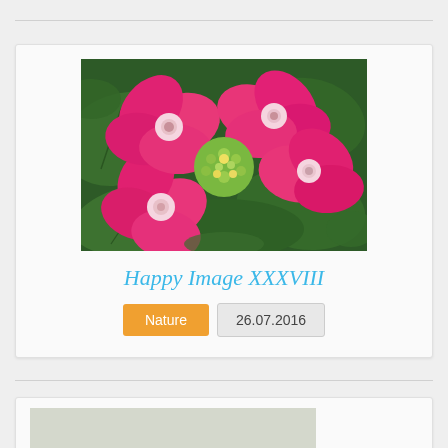[Figure (photo): Close-up photograph of pink hydrangea flowers with yellow-green centers against dark green leaves]
Happy Image XXXVIII
Nature
26.07.2016
[Figure (photo): Partial view of a second image card at the bottom, showing the beginning of another photograph]